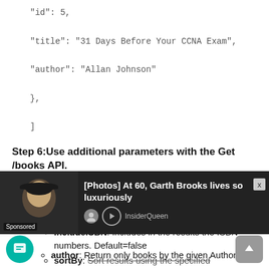"id": 5,
"title": "31 Days Before Your CCNA Exam",
"author": "Allan Johnson"
},
]
Step 6:Use additional parameters with the Get /books API.
1. Go to the School Library API web site. Scroll up to GET /books API and expand it, if necessary.
Notice the parameters that are available:
includeISBN: Includes in the results the ISBN numbers. Default=false
sortBy: Sort results using the specified parameter.
author: Return only books by the given Author.
page: Used to specify a page number.
[Figure (other): Advertisement banner: [Photos] At 60, Garth Brooks lives so luxuriously — InsiderQueen sponsored ad with photo of man in cowboy hat]